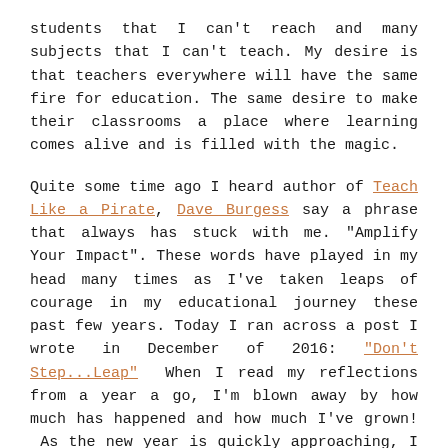students that I can't reach and many subjects that I can't teach. My desire is that teachers everywhere will have the same fire for education. The same desire to make their classrooms a place where learning comes alive and is filled with the magic.
Quite some time ago I heard author of Teach Like a Pirate, Dave Burgess say a phrase that always has stuck with me. "Amplify Your Impact". These words have played in my head many times as I've taken leaps of courage in my educational journey these past few years. Today I ran across a post I wrote in December of 2016: "Don't Step...Leap" When I read my reflections from a year a go, I'm blown away by how much has happened and how much I've grown! As the new year is quickly approaching, I am reflecting on the amazing opportunities that I've been given to share my heart, my passion....my story. With each opportunity I've been given a chance to ignite a spark, kindle a flame, or fuel